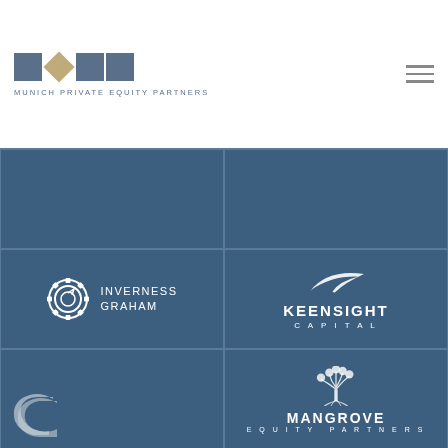[Figure (logo): Munich Private Equity Partners logo with blue squares, gold diamond, and text]
[Figure (logo): Hamburger menu icon (three horizontal lines)]
[Figure (logo): Inverness Graham logo with gear/target icon and white text on blue background]
[Figure (logo): Keensight Capital logo with feather/wing graphic and white text on blue background]
[Figure (logo): Partial circular arrow graphic on blue background]
[Figure (logo): Mangrove Equity Partners logo with tree graphic and white text on blue background]
[Figure (logo): Partial 3D C-shaped logo on blue background, bottom left corner]